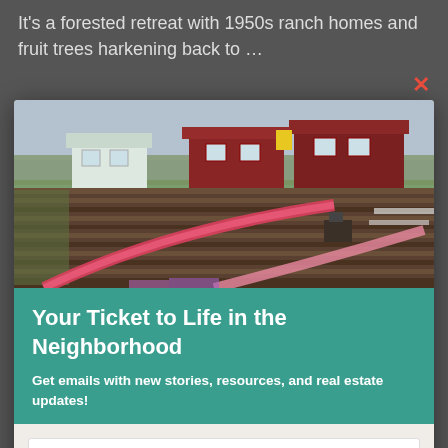It's a forested retreat with 1950s ranch homes and fruit trees harkening back to …
[Figure (photo): Aerial/ground view of a farm field with rows of pink/red tulips growing in dark soil, with residential houses (white and dark red) visible in the background against a cloudy sky.]
Your Ticket to Life in the Neighborhood
Get emails with new stories, resources, and real estate updates!
John
Smith
johnsmith@example.com